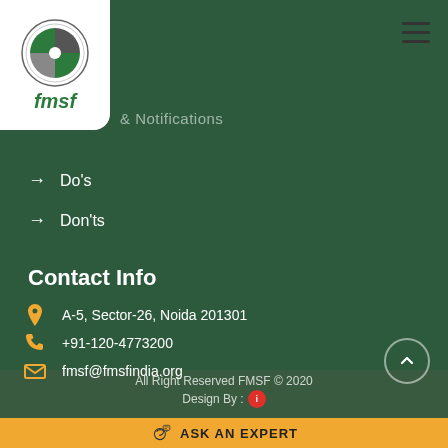[Figure (logo): FMSF logo with circular emblem and green text 'fmsf' on white card]
& Notifications
Do's
Don'ts
Contact Info
A-5, Sector-26, Noida 201301
+91-120-4773200
fmsf@fmsfindia.org
All Right Reserved FMSF © 2020
Design By :
ASK AN EXPERT